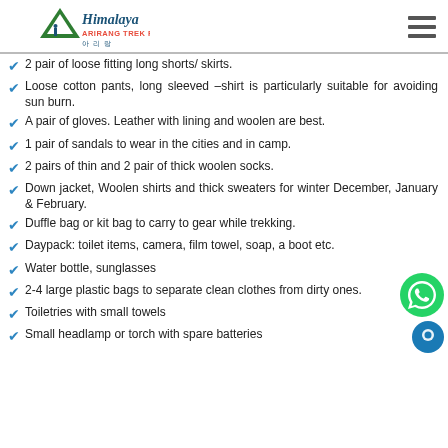Himalaya Arirang Trek Pvt. Ltd.
2 pair of loose fitting long shorts/ skirts.
Loose cotton pants, long sleeved –shirt is particularly suitable for avoiding sun burn.
A pair of gloves. Leather with lining and woolen are best.
1 pair of sandals to wear in the cities and in camp.
2 pairs of thin and 2 pair of thick woolen socks.
Down jacket, Woolen shirts and thick sweaters for winter December, January & February.
Duffle bag or kit bag to carry to gear while trekking.
Daypack: toilet items, camera, film towel, soap, a boot etc.
Water bottle, sunglasses
2-4 large plastic bags to separate clean clothes from dirty ones.
Toiletries with small towels
Small headlamp or torch with spare batteries